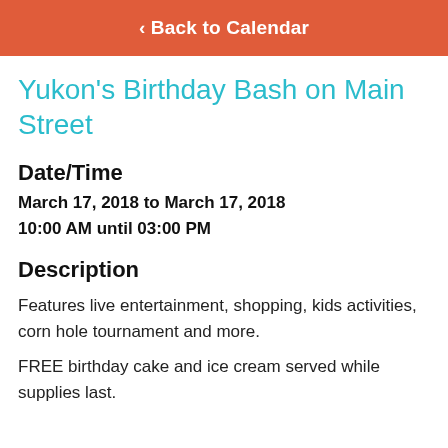‹ Back to Calendar
Yukon's Birthday Bash on Main Street
Date/Time
March 17, 2018 to March 17, 2018
10:00 AM until 03:00 PM
Description
Features live entertainment, shopping, kids activities, corn hole tournament and more.
FREE birthday cake and ice cream served while supplies last.